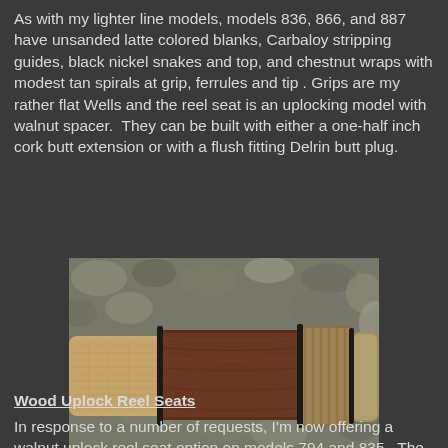As with my lighter line models, models 836, 866, and 887 have unsanded latte colored blanks, Carbaloy stripping guides, black nickel snakes and top, and chestnut wraps with modest tan spirals at grip, ferrules and tip . Grips are my rather flat Wells and the reel seat is an uplocking model with walnut spacer.  They can be built with either a one-half inch cork butt extension or with a flush fitting Delrin butt plug.
[Figure (photo): Close-up photograph of a fishing rod handle showing a cork grip on the left transitioning to a dark walnut wood reel seat with a knurled metal uplock reel seat band, set against a background of river stones.]
Wood Uplock Reel Seats
In response to a number of requests, I'm now offering a walnut uplock reel seat option on models 794 and 835.  The